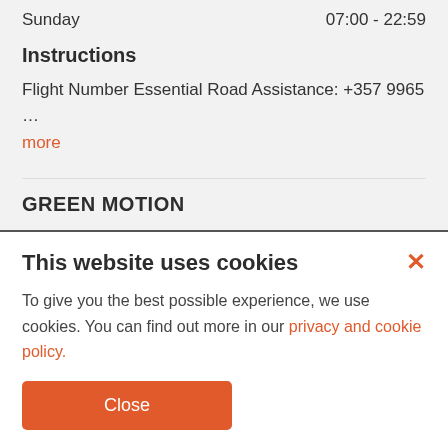Sunday	07:00 - 22:59
Instructions
Flight Number Essential Road Assistance: +357 9965 …
more
GREEN MOTION
[Figure (logo): Green Motion car and van rental logo]
Address
This website uses cookies
To give you the best possible experience, we use cookies. You can find out more in our privacy and cookie policy.
Close